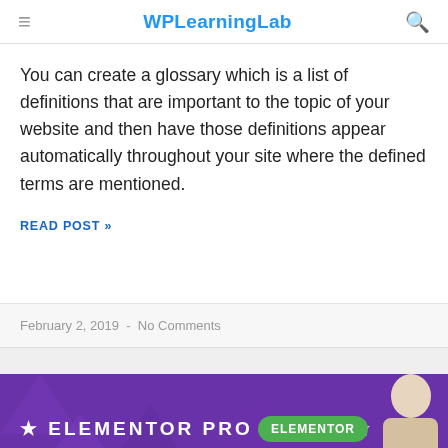WPLearningLab
You can create a glossary which is a list of definitions that are important to the topic of your website and then have those definitions appear automatically throughout your site where the defined terms are mentioned.
READ POST »
February 2, 2019  -  No Comments
[Figure (photo): Banner for Elementor Pro Part 3 tutorial with purple background, star decorations, green Elementor badge, and person silhouette on right]